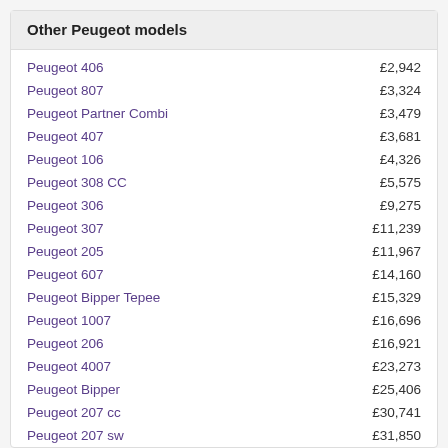Other Peugeot models
| Model | Price |
| --- | --- |
| Peugeot 406 | £2,942 |
| Peugeot 807 | £3,324 |
| Peugeot Partner Combi | £3,479 |
| Peugeot 407 | £3,681 |
| Peugeot 106 | £4,326 |
| Peugeot 308 CC | £5,575 |
| Peugeot 306 | £9,275 |
| Peugeot 307 | £11,239 |
| Peugeot 205 | £11,967 |
| Peugeot 607 | £14,160 |
| Peugeot Bipper Tepee | £15,329 |
| Peugeot 1007 | £16,696 |
| Peugeot 206 | £16,921 |
| Peugeot 4007 | £23,273 |
| Peugeot Bipper | £25,406 |
| Peugeot 207 cc | £30,741 |
| Peugeot 207 sw | £31,850 |
| Peugeot Traveller | £33,436 |
| Peugeot Expert Tepee | £34,306 |
| Peugeot 508 sw | £39,453 |